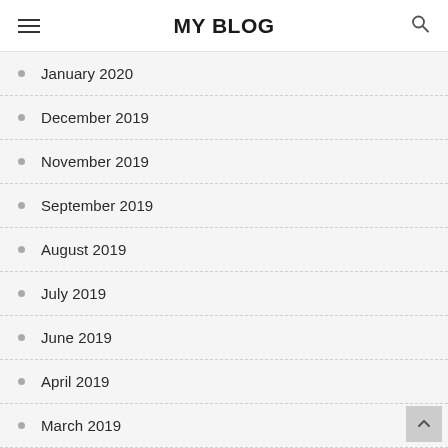MY BLOG
January 2020
December 2019
November 2019
September 2019
August 2019
July 2019
June 2019
April 2019
March 2019
February 2018